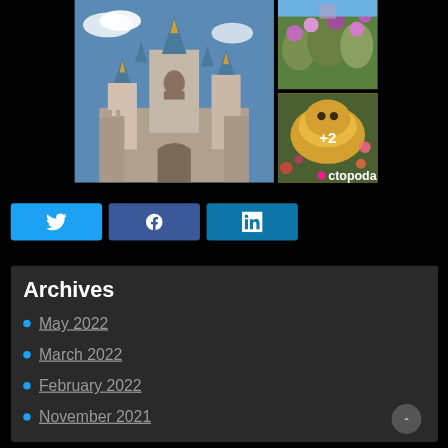[Figure (photo): Photo collage of Disneyland Paris: main large image of Sleeping Beauty Castle on the left, top-right smaller image of colorful garden area, bottom-right image of a parade float with '+2' overlay badge, and 'octopoda' watermark text in bottom-right corner]
[Figure (infographic): Three social media share buttons in a row: Twitter (light blue), Facebook (dark blue), LinkedIn (medium blue) with respective icons]
Archives
May 2022
March 2022
February 2022
November 2021